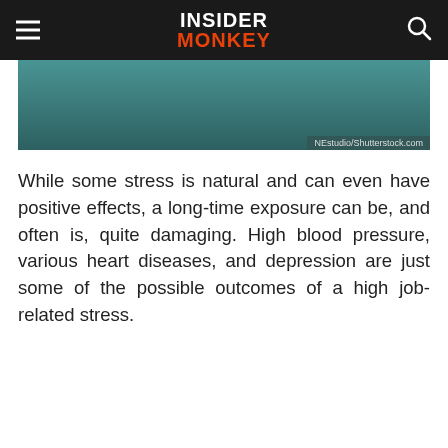INSIDER MONKEY
[Figure (photo): Partial photo visible at top of page with teal/dark green tones, attribution reads NEstudio/Shutterstock.com]
NEstudio/Shutterstock.com
While some stress is natural and can even have positive effects, a long-time exposure can be, and often is, quite damaging. High blood pressure, various heart diseases, and depression are just some of the possible outcomes of a high job-related stress.